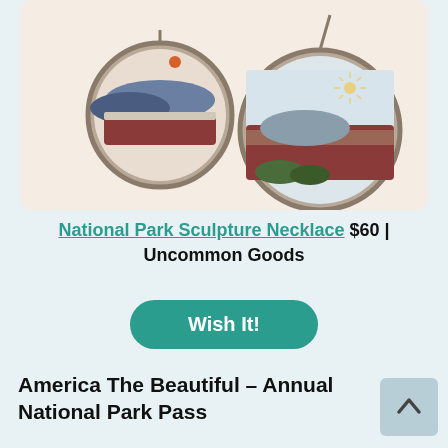[Figure (photo): Two circular pendant necklaces with hand-painted National Park landscape scenes, shown on a beige/cream background. Left pendant shows blue mountains with red earth, right pendant shows a canyon with star detail.]
National Park Sculpture Necklace $60 | Uncommon Goods
Wish It!
America The Beautiful – Annual National Park Pass
One of the BEST...